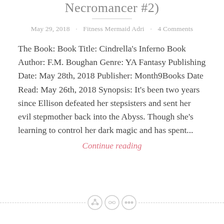Necromancer #2)
May 29, 2018 · Fitness Mermaid Adri · 4 Comments
The Book: Book Title: Cindrella's Inferno Book Author: F.M. Boughan Genre: YA Fantasy Publishing Date: May 28th, 2018 Publisher: Month9Books Date Read: May 26th, 2018 Synopsis: It's been two years since Ellison defeated her stepsisters and sent her evil stepmother back into the Abyss. Though she's learning to control her dark magic and has spent...
Continue reading